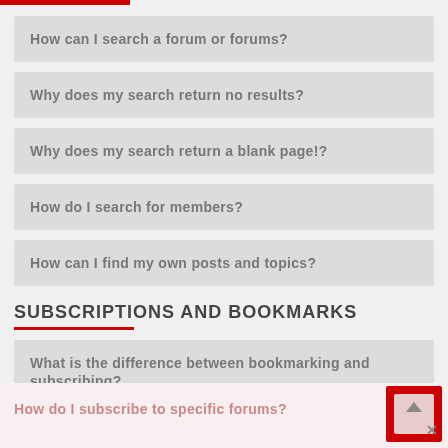How can I search a forum or forums?
Why does my search return no results?
Why does my search return a blank page!?
How do I search for members?
How can I find my own posts and topics?
SUBSCRIPTIONS AND BOOKMARKS
What is the difference between bookmarking and subscribing?
How do I bookmark or subscribe to specific topics?
How do I subscribe to specific forums?